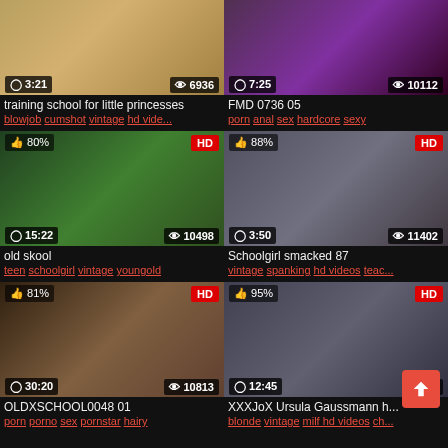[Figure (screenshot): Video thumbnail 1: training school for little princesses, duration 3:21, views 6936]
training school for little princesses
blowjob cumshot vintage hd vide...
[Figure (screenshot): Video thumbnail 2: FMD 0736 05, duration 7:25, views 10112]
FMD 0736 05
porn anal sex hardcore sexy
[Figure (screenshot): Video thumbnail 3: old skool, duration 15:22, views 10498, HD, 80% like]
old skool
teen schoolgirl vintage youngold
[Figure (screenshot): Video thumbnail 4: Schoolgirl smacked 87, duration 3:50, views 11402, HD, 88% like]
Schoolgirl smacked 87
vintage spanking hd videos teac...
[Figure (screenshot): Video thumbnail 5: OLDXSCHOOL0048 01, duration 30:20, views 10813, HD, 81% like]
OLDXSCHOOL0048 01
porn porno sex pornstar hairy
[Figure (screenshot): Video thumbnail 6: XXXJoX Ursula Gaussmann, duration 12:45, HD, 95% like]
XXXJoX Ursula Gaussmann h...
blonde vintage milf hd videos ch...